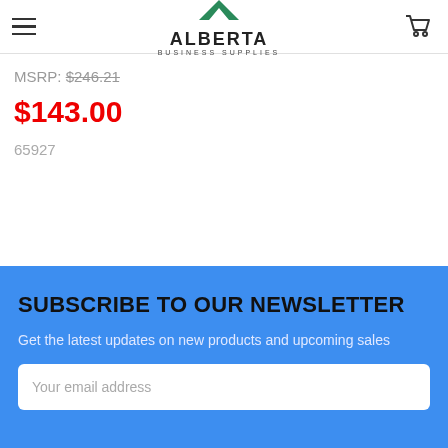Alberta Business Supplies
MSRP: $246.21
$143.00
65927
SUBSCRIBE TO OUR NEWSLETTER
Get the latest updates on new products and upcoming sales
Your email address